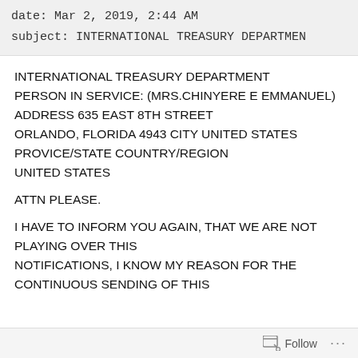date: Mar 2, 2019, 2:44 AM
subject: INTERNATIONAL TREASURY DEPARTMEN
INTERNATIONAL TREASURY DEPARTMENT
PERSON IN SERVICE: (MRS.CHINYERE E EMMANUEL)
ADDRESS 635 EAST 8TH STREET
ORLANDO, FLORIDA 4943 CITY UNITED STATES
PROVICE/STATE COUNTRY/REGION
UNITED STATES
ATTN PLEASE.
I HAVE TO INFORM YOU AGAIN, THAT WE ARE NOT PLAYING OVER THIS
NOTIFICATIONS, I KNOW MY REASON FOR THE
CONTINUOUS SENDING OF THIS
Follow ...